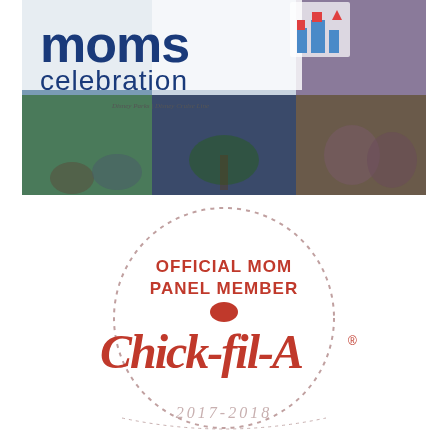[Figure (photo): Columbus Moms Celebration banner image with Disney Parks branding, showing collage of moms and celebration imagery with a castle logo graphic in blue and red.]
[Figure (logo): Round dotted-border badge reading OFFICIAL MOM PANEL MEMBER with Chick-fil-A logo in red script inside, and 2017-2018 text at the bottom of the circle.]